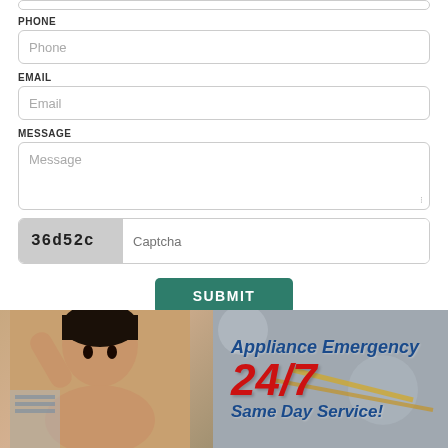PHONE
[Figure (screenshot): Phone input field with placeholder text 'Phone']
EMAIL
[Figure (screenshot): Email input field with placeholder text 'Email']
MESSAGE
[Figure (screenshot): Message textarea with placeholder text 'Message']
[Figure (screenshot): CAPTCHA row with code '36d52c' and input field with placeholder 'Captcha']
[Figure (screenshot): Green SUBMIT button]
[Figure (infographic): Banner image showing a person and text 'Appliance Emergency 24/7 Same Day Service!']